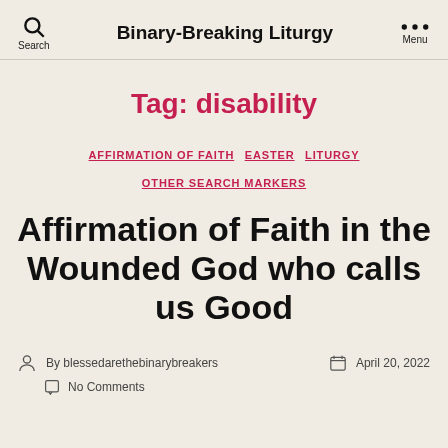Binary-Breaking Liturgy  Search  Menu
Tag: disability
AFFIRMATION OF FAITH  EASTER  LITURGY  OTHER SEARCH MARKERS
Affirmation of Faith in the Wounded God who calls us Good
By blessedarethebinarybreakers  April 20, 2022
No Comments